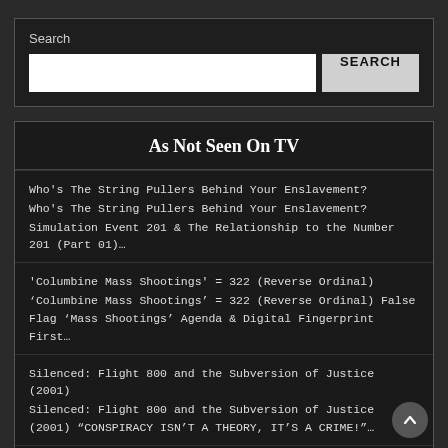Search
As Not Seen On TV
Who's The String Pullers Behind Your Enslavement?
Who's The String Pullers Behind Your Enslavement?
Simulation Event 201 & The Relationship to the Number 201 (Part 01)…
'Columbine Mass Shootings' = 322 (Reverse Ordinal)
'Columbine Mass Shootings' = 322 (Reverse Ordinal) False Flag 'Mass Shootings' Agenda & Digital Fingerprint  First…
Silenced: Flight 800 and the Subversion of Justice (2001)
Silenced: Flight 800 and the Subversion of Justice (2001) "CONSPIRACY ISN'T A THEORY, IT'S A CRIME!"…
Politicians Killed in Aircraft Accidents During The Bush Regime…